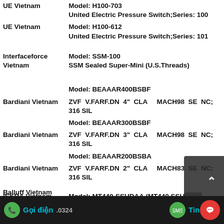UE Vietnam | Model: H100-703 | United Electric Pressure Switch;Series: 100
UE Vietnam | Model: H100-612 | United Electric Pressure Switch;Series: 101
Interfaceforce Vietnam | Model: SSM-100 | SSM Sealed Super-Mini (U.S.Threads)
Bardiani Vietnam | Model: BEAAAR400BSBF | ZVF V.FARF.DN 4" CLA MACH98 SE NC; 316 SIL
Bardiani Vietnam | Model: BEAAAR300BSBF | ZVF V.FARF.DN 3" CLA MACH98 SE NC; 316 SIL
Bardiani Vietnam | Model: BEAAAR200BSBA | ZVF V.FARF.DN 2" CLA MACH83 SE NC; 316 SIL
ISKRA Vietnam | Model: MT440-SSUDAA (MT440 SSUDAA)
Balluff Vietnam
Gọi điện ... 0324 | Tin nhắn